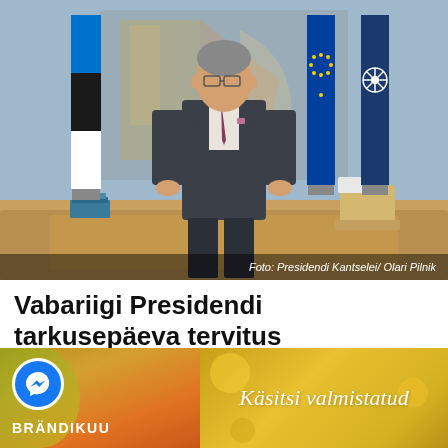[Figure (photo): Estonian President standing in a formal room wearing a dark suit and burgundy tie, with the Estonian flag on the left and EU/NATO flags on the right, in front of a large desk and wall tapestry]
Foto: Presidendi Kantselei/ Olari Pilnik
Vabariigi Presidendi tarkusepäeva tervitus
[Figure (infographic): Advertisement banner: left side shows orange/autumn background with Facebook Messenger icon and text BRÄNDIKUU; right side shows yellow/golden background with text Käsitsi valmistatud]